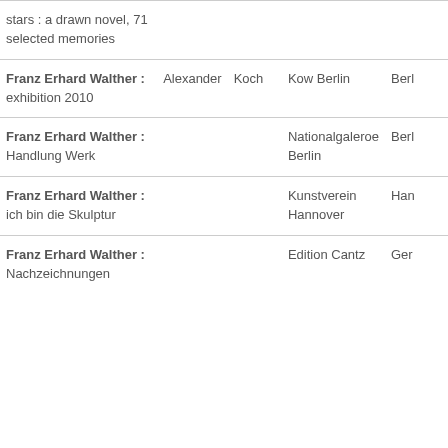| Title | Author First | Author Last | Publisher | Location |
| --- | --- | --- | --- | --- |
| stars : a drawn novel, 71 selected memories |  |  |  |  |
| Franz Erhard Walther : exhibition 2010 | Alexander | Koch | Kow Berlin | Berl… |
| Franz Erhard Walther : Handlung Werk |  |  | Nationalgaleroe Berlin | Berl… |
| Franz Erhard Walther : ich bin die Skulptur |  |  | Kunstverein Hannover | Han… |
| Franz Erhard Walther : Nachzeichnungen |  |  | Edition Cantz | Ger… |